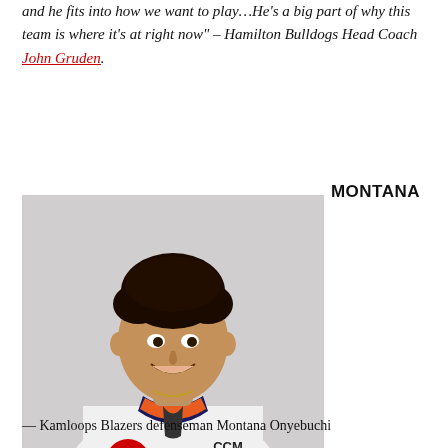and he fits into how we want to play…He's a big part of why this team is where it's at right now" – Hamilton Bulldogs Head Coach John Gruden.
MONTANA
[Figure (photo): A young man wearing a white Kamloops Blazers WHL hockey jersey with CCM branding and the Blazers 'B' logo, smiling at the camera. The jersey has orange and navy accents.]
— Kamloops Blazers defenseman Montana Onyebuchi